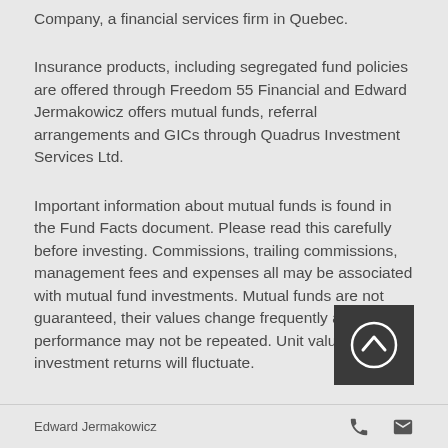Company, a financial services firm in Quebec.
Insurance products, including segregated fund policies are offered through Freedom 55 Financial and Edward Jermakowicz offers mutual funds, referral arrangements and GICs through Quadrus Investment Services Ltd.
Important information about mutual funds is found in the Fund Facts document. Please read this carefully before investing. Commissions, trailing commissions, management fees and expenses all may be associated with mutual fund investments. Mutual funds are not guaranteed, their values change frequently and past performance may not be repeated. Unit values and investment returns will fluctuate.
[Figure (other): Dark square button with a white circle containing an upward-pointing chevron arrow, used as a scroll-to-top button]
Edward Jermakowicz